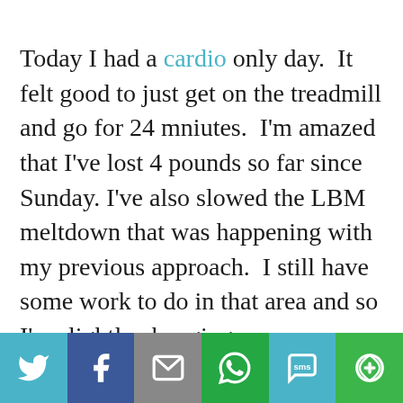Today I had a cardio only day.  It felt good to just get on the treadmill and go for 24 mniutes.  I'm amazed that I've lost 4 pounds so far since Sunday.  I've also slowed the LBM meltdown that was happening with my previous approach.  I still have some work to do in that area and so I'm slightly changing up my experiment–nothing major, just a move to keep the LBM intact.
[Figure (infographic): Social share bar with six buttons: Twitter (light blue), Facebook (dark blue), Email (gray), WhatsApp (green), SMS (light blue), More/Other (green)]